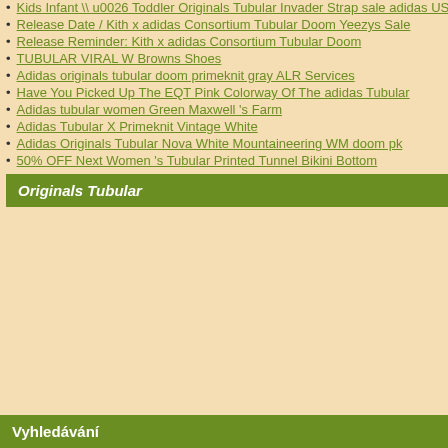Kids Infant \ u0026 Toddler Originals Tubular Invader Strap sale adidas US
Release Date / Kith x adidas Consortium Tubular Doom Yeezys Sale
Release Reminder: Kith x adidas Consortium Tubular Doom
TUBULAR VIRAL W Browns Shoes
Adidas originals tubular doom primeknit gray ALR Services
Have You Picked Up The EQT Pink Colorway Of The adidas Tubular
Adidas tubular women Green Maxwell 's Farm
Adidas Tubular X Primeknit Vintage White
Adidas Originals Tubular Nova White Mountaineering WM doom pk
50% OFF Next Women 's Tubular Printed Tunnel Bikini Bottom
Originals Tubular
Vyhledávání
adidas Originals Fashion Week
By Jack Drummo
1232 Shares
ShareTweetEmailWhats
[Figure (other): Multiple broken image placeholders labeled {tmkeyword}]